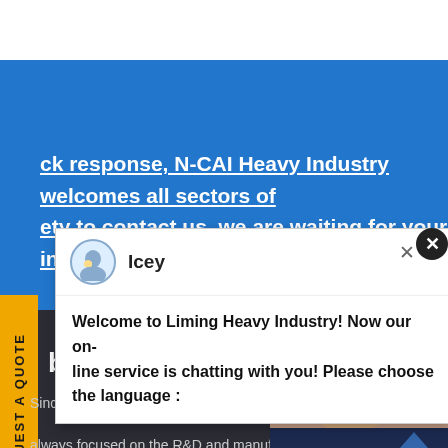ck response, N-CAI Heavy Industry welcomes all sectors of ety to contact us, we are waiting for your inquiry within
[Figure (screenshot): Live chat popup with agent avatar named Icey, message: Welcome to Liming Heavy Industry! Now our on-line service is chatting with you! Please choose the language :]
[Figure (photo): Customer service representative photo with headset, with blue circle badge showing number 1, and Have any requests click here text, and Quotation button]
About Us
Since its establishment in 1987, N-CAI Heavy Industry has always focused on the R&D and manufacturing